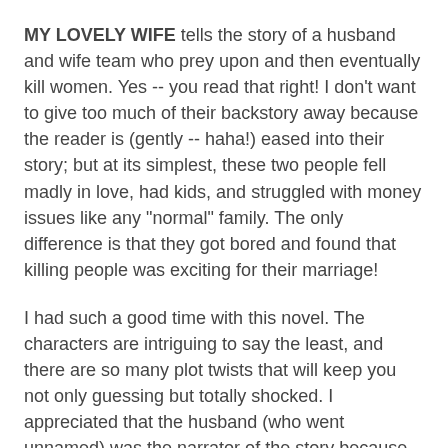MY LOVELY WIFE tells the story of a husband and wife team who prey upon and then eventually kill women. Yes -- you read that right! I don't want to give too much of their backstory away because the reader is (gently -- haha!) eased into their story; but at its simplest, these two people fell madly in love, had kids, and struggled with money issues like any "normal" family. The only difference is that they got bored and found that killing people was exciting for their marriage!
I had such a good time with this novel. The characters are intriguing to say the least, and there are so many plot twists that will keep you not only guessing but totally shocked. I appreciated that the husband (who went unnamed) was the narrator of the story because his voice really added a whole other dimension to this book. It was really interesting to get inside his mind and see how he could be so normal at times and then so absolutely deceptive (i.e. he even pretended to be deaf so he could "get to know" women.)
The dynamics of their marriage and family were also really intriguing. So much so that I will say you probably kill...